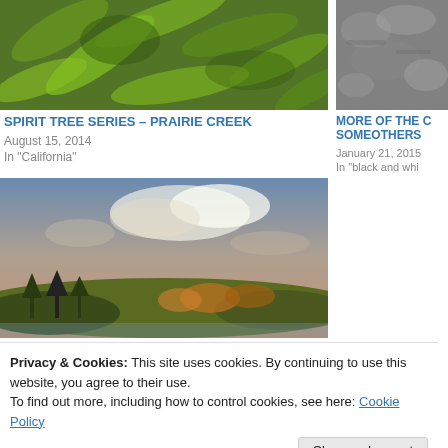[Figure (photo): Green fern and moss covered forest floor or tree, vibrant green foliage]
[Figure (photo): Black and white photo of rocky terrain or bark texture]
SPIRIT TREE SERIES – PRAIRIE CREEK
August 15, 2014
In "California"
MORE OF THE C SOMEOTHERS
January 21, 2015
In "black and whi
[Figure (photo): Landscape photo of a lake or river with autumn colored trees and dramatic cloudy sky]
Privacy & Cookies: This site uses cookies. By continuing to use this website, you agree to their use.
To find out more, including how to control cookies, see here: Cookie Policy
Close and accept